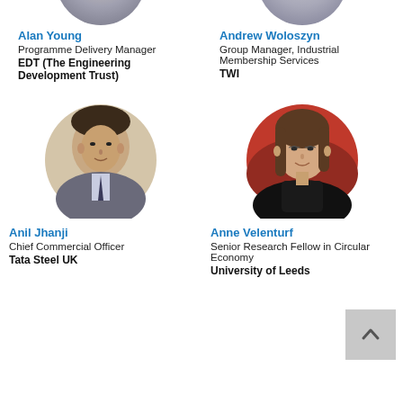[Figure (photo): Circular cropped photo of Alan Young (partially visible at top)]
Alan Young
Programme Delivery Manager
EDT (The Engineering Development Trust)
[Figure (photo): Circular cropped photo of Andrew Woloszyn (partially visible at top)]
Andrew Woloszyn
Group Manager, Industrial Membership Services
TWI
[Figure (photo): Circular photo of Anil Jhanji, man in grey suit with tie]
Anil Jhanji
Chief Commercial Officer
Tata Steel UK
[Figure (photo): Circular photo of Anne Velenturf, woman in black against red background]
Anne Velenturf
Senior Research Fellow in Circular Economy
University of Leeds